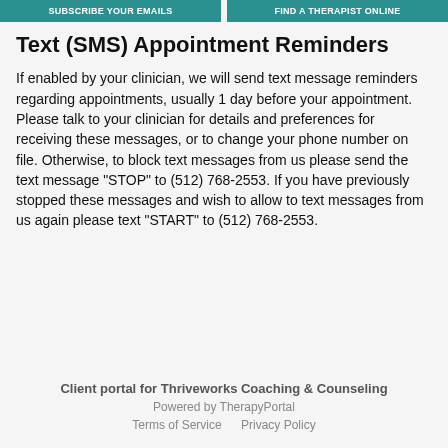SUBSCRIBE YOUR EMAILS   FIND A THERAPIST ONLINE
Text (SMS) Appointment Reminders
If enabled by your clinician, we will send text message reminders regarding appointments, usually 1 day before your appointment. Please talk to your clinician for details and preferences for receiving these messages, or to change your phone number on file. Otherwise, to block text messages from us please send the text message "STOP" to (512) 768-2553. If you have previously stopped these messages and wish to allow to text messages from us again please text "START" to (512) 768-2553.
Client portal for Thriveworks Coaching & Counseling
Powered by TherapyPortal
Terms of Service   Privacy Policy